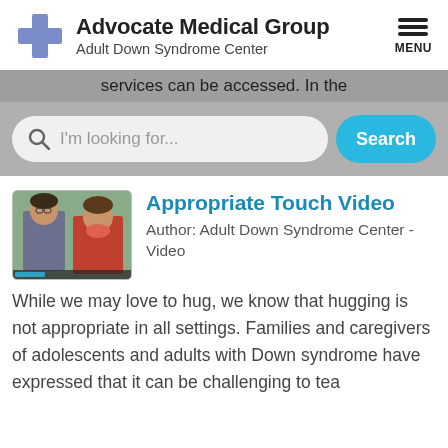Advocate Medical Group Adult Down Syndrome Center
services can be accessed. In the
I'm looking for...
Appropriate Touch Video
Author: Adult Down Syndrome Center - Video
While we may love to hug, we know that hugging is not appropriate in all settings. Families and caregivers of adolescents and adults with Down syndrome have expressed that it can be challenging to tea